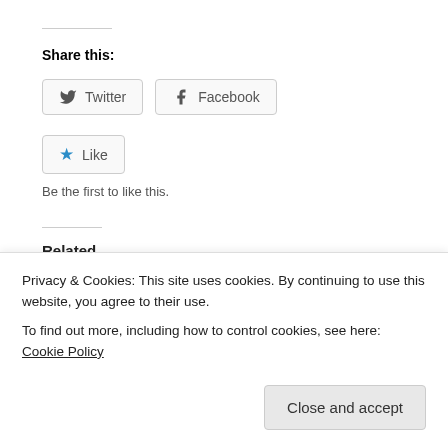Share this:
Twitter  Facebook
★ Like
Be the first to like this.
Related
Tall ships converging on Lake Erie to re-enact historic War of 1812 battle near Ohio island
August 29, 2013
In "CANADIAN NEWS AND EVENTS"
Ohio ports hope Lake Erie bicen...
January 2, 2012
In "AMERICA..."
Privacy & Cookies: This site uses cookies. By continuing to use this website, you agree to their use.
To find out more, including how to control cookies, see here: Cookie Policy
Close and accept